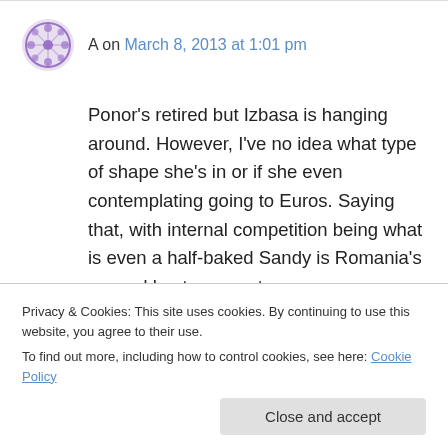A on March 8, 2013 at 1:01 pm
Ponor's retired but Izbasa is hanging around. However, I've no idea what type of shape she's in or if she even contemplating going to Euros. Saying that, with internal competition being what is even a half-baked Sandy is Romania's second best gymnast, so…
The big threat is Iordache. The BB and FX rules are made for her and Mustafina's wings have
Privacy & Cookies: This site uses cookies. By continuing to use this website, you agree to their use.
To find out more, including how to control cookies, see here: Cookie Policy
Close and accept